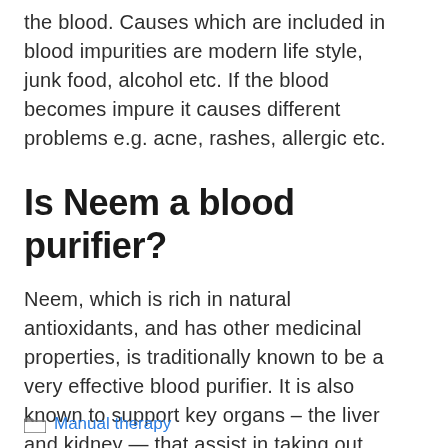the blood. Causes which are included in blood impurities are modern life style, junk food, alcohol etc. If the blood becomes impure it causes different problems e.g. acne, rashes, allergic etc.
Is Neem a blood purifier?
Neem, which is rich in natural antioxidants, and has other medicinal properties, is traditionally known to be a very effective blood purifier. It is also known to support key organs – the liver and kidney — that assist in taking out waste and toxins from the body.
Manual therapy